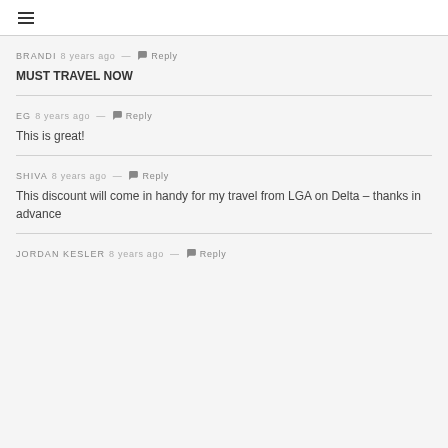≡ (hamburger menu icon)
BRANDI 8 years ago — 💬 Reply
MUST TRAVEL NOW
EG 8 years ago — 💬 Reply
This is great!
SHIVA 8 years ago — 💬 Reply
This discount will come in handy for my travel from LGA on Delta – thanks in advance
JORDAN KESLER 8 years ago — 💬 Reply